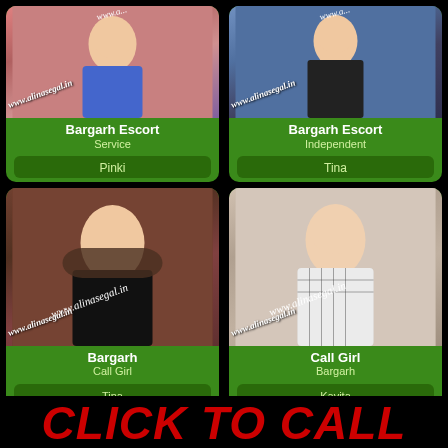[Figure (photo): Card grid of escort profile photos with names. Top left: Bargarh Escort Service - Pinki. Top right: Bargarh Escort Independent - Tina. Bottom left: Bargarh Call Girl - Tina. Bottom right: Call Girl Bargarh - Kavita. Watermark: www.alinasegal.in on each photo.]
Bargarh Escort Service
Pinki
Bargarh Escort Independent
Tina
Bargarh Call Girl
Tina
Call Girl Bargarh
Kavita
CLICK TO CALL